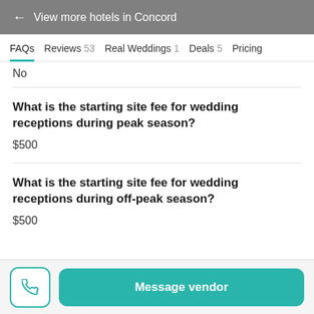← View more hotels in Concord
FAQs   Reviews 53   Real Weddings 1   Deals 5   Pricing
No
What is the starting site fee for wedding receptions during peak season?
$500
What is the starting site fee for wedding receptions during off-peak season?
$500
Message vendor